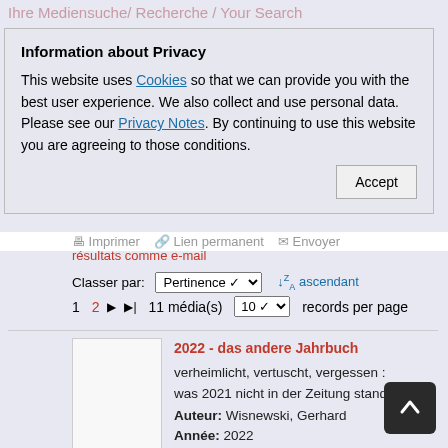Ihre Mediensuche/ Recherche / Your Search
Information about Privacy
This website uses Cookies so that we can provide you with the best user experience. We also collect and use personal data. Please see our Privacy Notes. By continuing to use this website you are agreeing to those conditions.
Accept
résultats comme e-mail
Classer par: Pertinence ↓A ascendant
1  2  ▶  ▶|  11 média(s)  10 ▾  records per page
2022 - das andere Jahrbuch
verheimlicht, vertuscht, vergessen : was 2021 nicht in der Zeitung stand
Auteur: Wisnewski, Gerhard
Année: 2022
Maison d'édition: Rottenburg, K Verlag